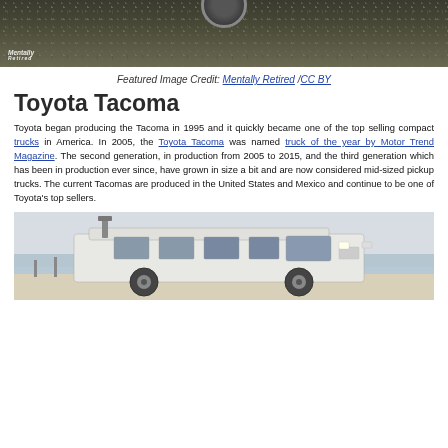[Figure (photo): Top portion of a vehicle photo over gravel/asphalt surface, with a 'Mentally Retired' watermark logo in the lower left corner]
Featured Image Credit: Mentally Retired /CC BY
Toyota Tacoma
Toyota began producing the Tacoma in 1995 and it quickly became one of the top selling compact trucks in America. In 2005, the Toyota Tacoma was named truck of the year by Motor Trend Magazine. The second generation, in production from 2005 to 2015, and the third generation which has been in production ever since, have grown in size a bit and are now considered mid-sized pickup trucks. The current Tacomas are produced in the United States and Mexico and continue to be one of Toyota's top sellers.
[Figure (photo): A white Toyota van/truck parked near a beach, with ocean water visible in the background]